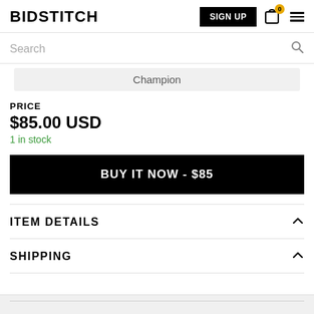BIDSTITCH — SIGN UP, cart (0), menu
Search
Champion
PRICE
$85.00 USD
1 in stock
BUY IT NOW - $85
ITEM DETAILS
SHIPPING